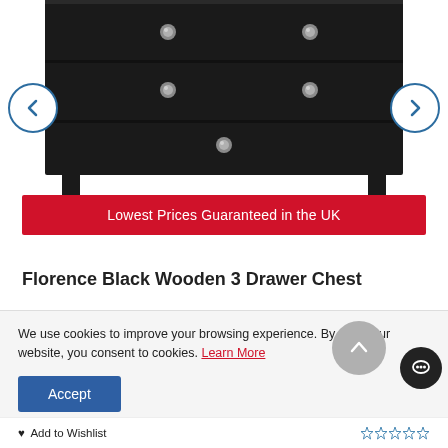[Figure (photo): Florence Black Wooden 3 Drawer Chest product photo showing top portion of dark/black chest of drawers with two visible drawer knobs, navigation arrows on left and right sides]
Lowest Prices Guaranteed in the UK
Florence Black Wooden 3 Drawer Chest
We use cookies to improve your browsing experience. By using our website, you consent to cookies. Learn More
Accept
Add to Wishlist